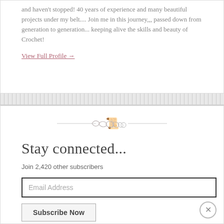and haven't stopped! 40 years of experience and many beautiful projects under my belt.... Join me in this journey,,, passed down from generation to generation... keeping alive the skills and beauty of Crochet!
View Full Profile →
[Figure (illustration): Decorative ornamental swirl divider]
Stay connected...
Join 2,420 other subscribers
Email Address
Subscribe Now